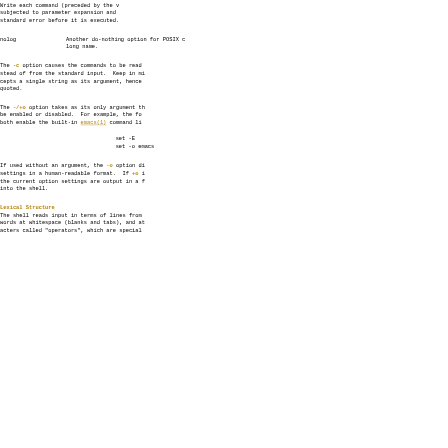Write each command (preceded by the v...) subjected to parameter expansion and ... standard error before it is executed.
nolog   Another do-nothing option for POSIX c... long name.
The -c option causes the commands to be read ... stead of from the standard input. Keep in mi... cepts a single string as its argument, hence ... quoted.
The -/+o option takes as its only argument th... be enabled or disabled. For example, the fo... both enable the built-in emacs(1) command li...
set -E
set -o emacs
If used without an argument, the -o option di... settings in a human-readable format. If +o i... the current option settings are output in a f... into the shell.
Lexical Structure
The shell reads input in terms of lines from ... words at whitespace (blanks and tabs), and at... acters called "operators", which are special...